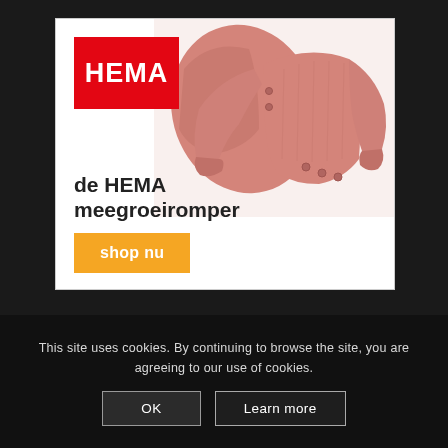[Figure (illustration): HEMA retail advertisement showing a pink baby grow/romper with long sleeves and snap buttons, alongside the HEMA red logo, headline 'de HEMA meegroeiromper', and a yellow 'shop nu' button]
This site uses cookies. By continuing to browse the site, you are agreeing to our use of cookies.